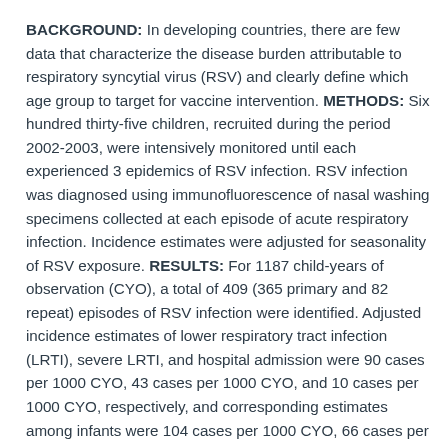BACKGROUND: In developing countries, there are few data that characterize the disease burden attributable to respiratory syncytial virus (RSV) and clearly define which age group to target for vaccine intervention. METHODS: Six hundred thirty-five children, recruited during the period 2002-2003, were intensively monitored until each experienced 3 epidemics of RSV infection. RSV infection was diagnosed using immunofluorescence of nasal washing specimens collected at each episode of acute respiratory infection. Incidence estimates were adjusted for seasonality of RSV exposure. RESULTS: For 1187 child-years of observation (CYO), a total of 409 (365 primary and 82 repeat) episodes of RSV infection were identified. Adjusted incidence estimates of lower respiratory tract infection (LRTI), severe LRTI, and hospital admission were 90 cases per 1000 CYO, 43 cases per 1000 CYO, and 10 cases per 1000 CYO, respectively, and corresponding estimates among infants were 104 cases per 1000 CYO, 66 cases per 1000 CYO, and 13 cases per 1000